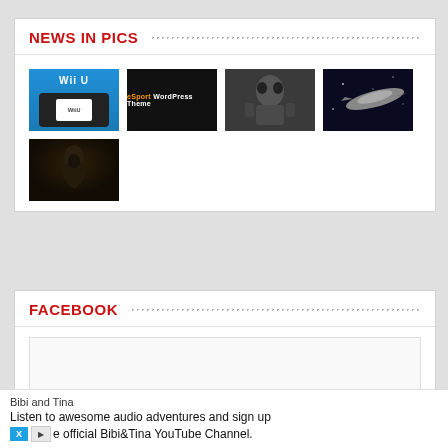NEWS IN PICS
[Figure (photo): Grid of 5 thumbnail images: Wii U gaming tablet, eSport WordPress Theme banner, armored robot/mech character, spaceship in space (Star Wars style), and a fantasy/hooded character]
FACEBOOK
[Figure (screenshot): Empty Facebook widget embed area]
Bibi and Tina
Listen to awesome audio adventures and sign up
e official Bibi&Tina YouTube Channel.